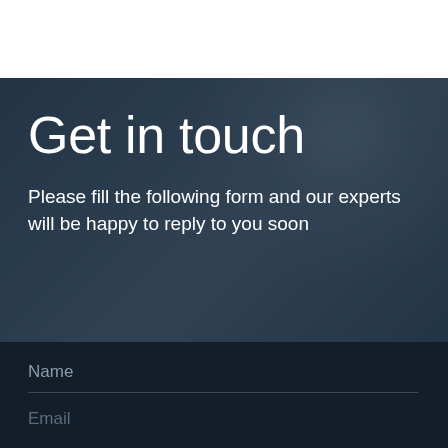[Figure (photo): A woman with a headset/earphone in a modern office environment, shown as a background hero image with a dark blue overlay tint.]
Get in touch
Please fill the following form and our experts will be happy to reply to you soon
Name
Email